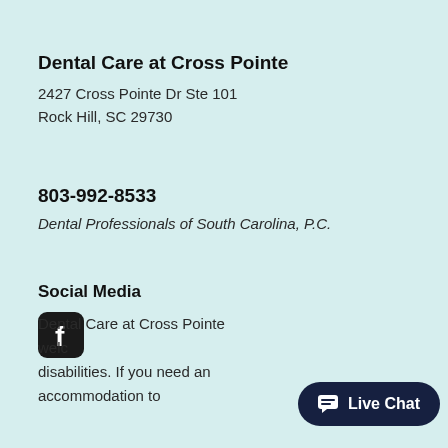Dental Care at Cross Pointe
2427 Cross Pointe Dr Ste 101
Rock Hill, SC 29730
803-992-8533
Dental Professionals of South Carolina, P.C.
Social Media
[Figure (logo): Facebook icon - rounded square with white F logo on dark background]
Dental Care at Cross Pointe welc... disabilities. If you need an accommodation to
[Figure (other): Live Chat button - dark navy rounded pill button with chat icon and 'Live Chat' text]